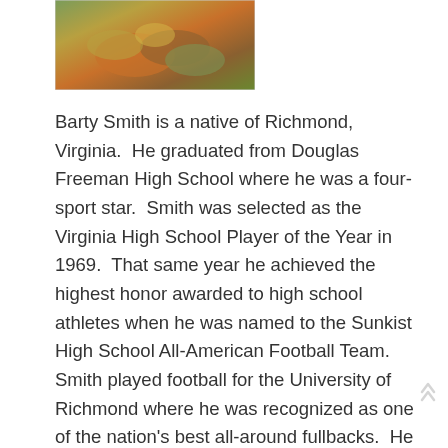[Figure (photo): A football game action photo showing players in a pile, colors of green, orange, and yellow visible.]
Barty Smith is a native of Richmond, Virginia.  He graduated from Douglas Freeman High School where he was a four-sport star.  Smith was selected as the Virginia High School Player of the Year in 1969.  That same year he achieved the highest honor awarded to high school athletes when he was named to the Sunkist High School All-American Football Team.  Smith played football for the University of Richmond where he was recognized as one of the nation's best all-around fullbacks.  He starred in football at the University of Richmond from 1971 through 1973, twice being named to the All-Southern Conference Football Team.  Recognized as one of the all-time Spider greats, Smith led the University of Richmond to the Southern Conference